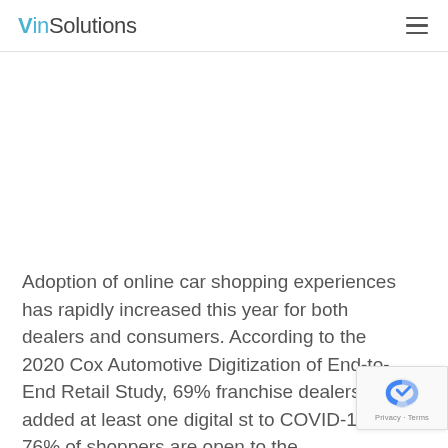VinSolutions
Adoption of online car shopping experiences has rapidly increased this year for both dealers and consumers. According to the 2020 Cox Automotive Digitization of End-to-End Retail Study, 69% franchise dealers added at least one digital st to COVID-19, and 76% of shoppers are open to the